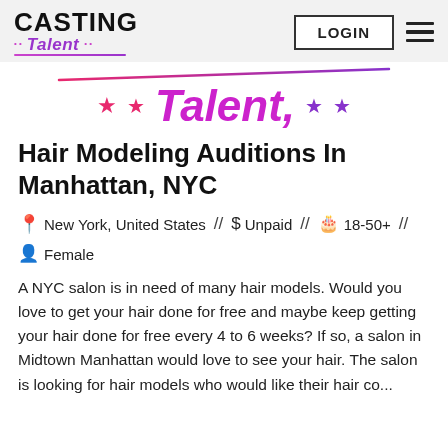CASTING Talent · · LOGIN ☰
[Figure (logo): Casting Talent banner with stylized 'Talent' text in purple/pink with stars and diagonal gradient line]
Hair Modeling Auditions In Manhattan, NYC
📍 New York, United States // $ Unpaid // 🎂 18-50+ // 👤 Female
A NYC salon is in need of many hair models. Would you love to get your hair done for free and maybe keep getting your hair done for free every 4 to 6 weeks? If so, a salon in Midtown Manhattan would love to see your hair. The salon is looking for hair models who would like their hair co...